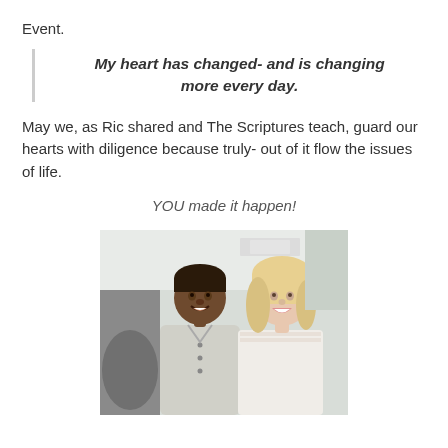Event.
My heart has changed- and is changing more every day.
May we, as Ric shared and The Scriptures teach, guard our hearts with diligence because truly- out of it flow the issues of life.
YOU made it happen!
[Figure (photo): Two women smiling at the camera in a bright indoor setting. One woman is Black with short hair wearing a light-colored button-up shirt, and the other is a blonde white woman wearing a white lace top.]